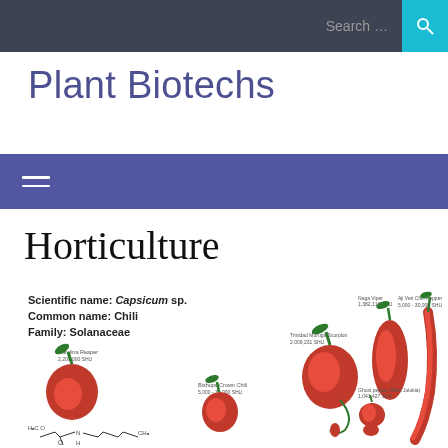Search ...
Plant Biotechs
Horticulture
[Figure (infographic): Infographic showing various chili pepper species with scientific labels: Scientific name: Capsicum sp., Common name: Chili, Family: Solanaceae. Varieties shown include Carolina Reaper (2,200,000 SHU), Bishops Crown Chili (5,000-30,000 SHU), Trinidad Moruga Scorpion (2,009,231 SHU), Naga Viper (1,382,118 SHU), Aji Veri Chili Pepper (5,000-30,000 SHU), Ghost pepper/Bhut Jolokia (1,041,427 SHU). Also shows a capsaicin chemical structure at the bottom.]